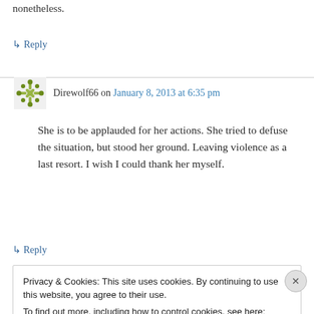nonetheless.
↳ Reply
Direwolf66 on January 8, 2013 at 6:35 pm
She is to be applauded for her actions. She tried to defuse the situation, but stood her ground. Leaving violence as a last resort. I wish I could thank her myself.
↳ Reply
Privacy & Cookies: This site uses cookies. By continuing to use this website, you agree to their use. To find out more, including how to control cookies, see here: Cookie Policy
Close and accept